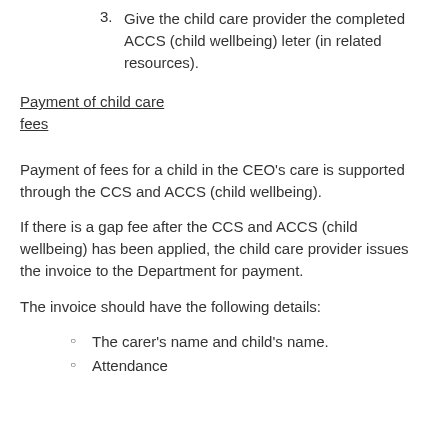3. Give the child care provider the completed ACCS (child wellbeing) leter (in related resources).
Payment of child care fees
Payment of fees for a child in the CEO's care is supported through the CCS and ACCS (child wellbeing).
If there is a gap fee after the CCS and ACCS (child wellbeing) has been applied, the child care provider issues the invoice to the Department for payment.
The invoice should have the following details:
The carer's name and child's name.
Attendance